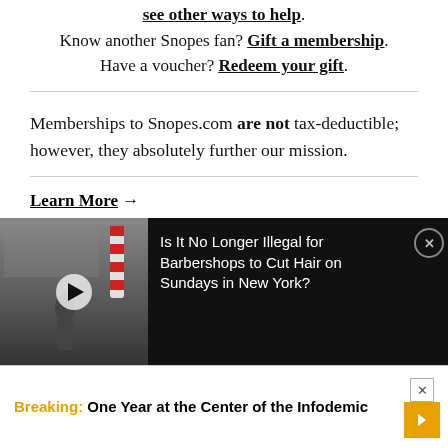see other ways to help. Know another Snopes fan? Gift a membership. Have a voucher? Redeem your gift.
Memberships to Snopes.com are not tax-deductible; however, they absolutely further our mission.
Learn More →
[Figure (screenshot): Video thumbnail showing black-and-white image of a barbershop scene with a barber pole]
Is It No Longer Illegal for Barbershops to Cut Hair on Sundays in New York?
Breaking: One Year at the Center of the Infodemic